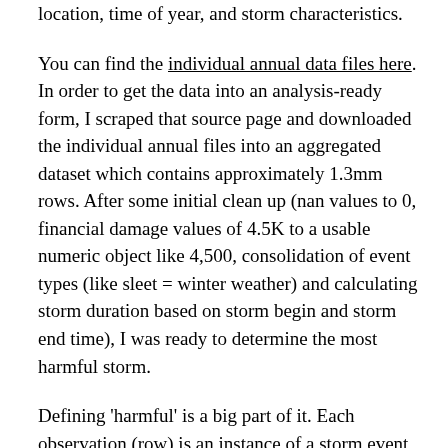location, time of year, and storm characteristics.
You can find the individual annual data files here. In order to get the data into an analysis-ready form, I scraped that source page and downloaded the individual annual files into an aggregated dataset which contains approximately 1.3mm rows. After some initial clean up (nan values to 0, financial damage values of 4.5K to a usable numeric object like 4,500, consolidation of event types (like sleet = winter weather) and calculating storm duration based on storm begin and storm end time), I was ready to determine the most harmful storm.
Defining 'harmful' is a big part of it. Each observation (row) is an instance of a storm event that comprises a particular episode. For instance, a tornado that rips across Wichita and Andover Kansas will be counted as two storm events… but one episode. Falling hail followed by a tornado is